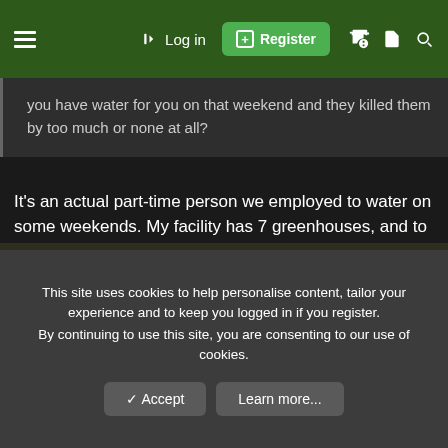≡  →) Log in  ⊞ Register
you have water for you on that weekend and they killed them by too much or none at all?
It's an actual part-time person we employed to water on some weekends. My facility has 7 greenhouses, and to water them all by hand takes ~4 hours each day. The individual who killed the Drosophyllum also allowed several tens of thousands of dollars in research plants to dry out and die, and was terminated. Weekend waterers are usually a weak link for large conservatories/botanical gardens and it is typically a job requiring the utmost trust. The only alternate is for the staff to work 7 days a week.
This site uses cookies to help personalise content, tailor your experience and to keep you logged in if you register.
By continuing to use this site, you are consenting to our use of cookies.